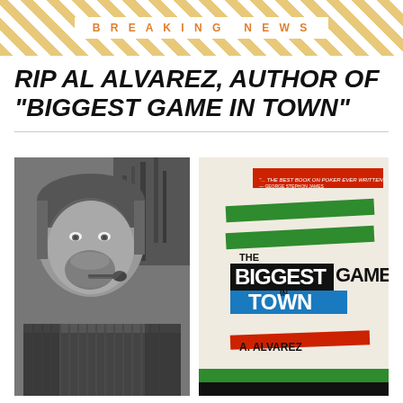BREAKING NEWS
RIP AL ALVAREZ, AUTHOR OF "BIGGEST GAME IN TOWN"
[Figure (photo): Black and white photograph of Al Alvarez, a bearded man smoking a pipe, looking downward]
[Figure (photo): Book cover of 'The Biggest Game in Town' by A. Alvarez, featuring bold typography with colored bars in green, black, blue, and red on a cream background]